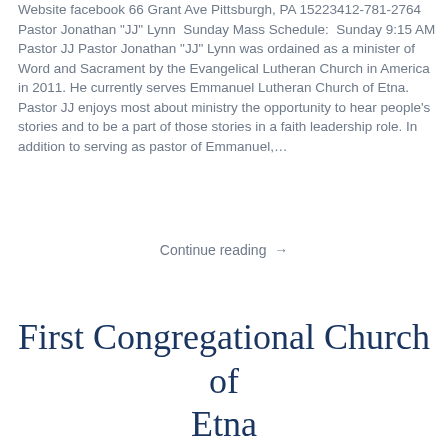Website facebook 66 Grant Ave Pittsburgh, PA 15223412-781-2764 Pastor Jonathan "JJ" Lynn  Sunday Mass Schedule:  Sunday 9:15 AM Pastor JJ Pastor Jonathan "JJ" Lynn was ordained as a minister of Word and Sacrament by the Evangelical Lutheran Church in America in 2011. He currently serves Emmanuel Lutheran Church of Etna.  Pastor JJ enjoys most about ministry the opportunity to hear people's stories and to be a part of those stories in a faith leadership role. In addition to serving as pastor of Emmanuel,...
Continue reading →
First Congregational Church of Etna